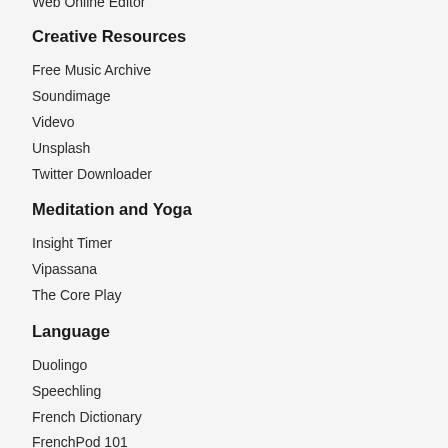Creative Resources
Free Music Archive
Soundimage
Videvo
Unsplash
Twitter Downloader
Meditation and Yoga
Insight Timer
Vipassana
The Core Play
Language
Duolingo
Speechling
French Dictionary
FrenchPod 101
French Today
French Together